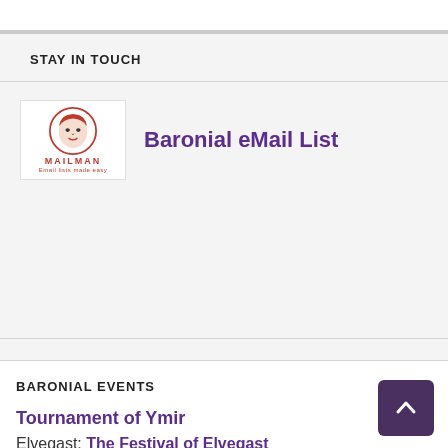STAY IN TOUCH
[Figure (logo): Mailman mailing list logo — circular portrait illustration with 'MAILMAN' text below]
Baronial eMail List
Baronial Guilds - Facebook Groups
BARONIAL EVENTS
Tournament of Ymir
Elvegast: The Festival of Elvegast